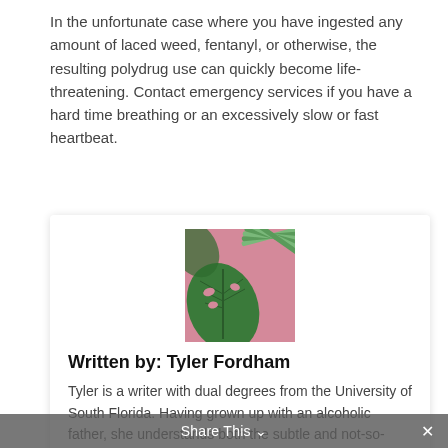In the unfortunate case where you have ingested any amount of laced weed, fentanyl, or otherwise, the resulting polydrug use can quickly become life-threatening. Contact emergency services if you have a hard time breathing or an excessively slow or fast heartbeat.
[Figure (photo): Tropical plant leaves (monstera and palm) on a pink background]
Written by: Tyler Fordham
Tyler is a writer with dual degrees from the University of South Florida. Having grown up with an alcoholic father, she understands both the subtle and not-so-subtle ways that addiction can affect the family unit. This Miami native has become a champion of mental health and an active believer in the power of positive
Share This ∨  ✕